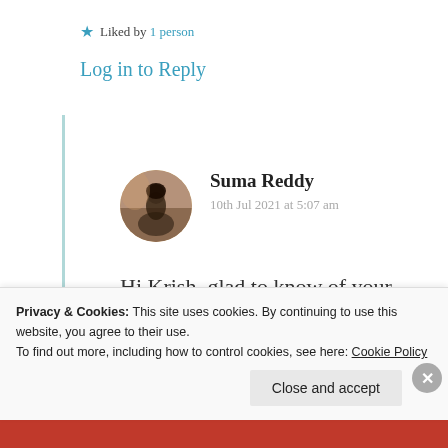★ Liked by 1 person
Log in to Reply
Suma Reddy
10th Jul 2021 at 5:07 am
Hi Krish, glad to know of your views and thoughts on God and life. These
Privacy & Cookies: This site uses cookies. By continuing to use this website, you agree to their use.
To find out more, including how to control cookies, see here: Cookie Policy
Close and accept